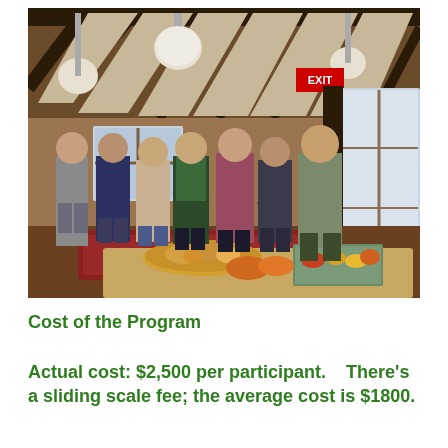[Figure (photo): Group of seven adults standing in a rustic wooden building with exposed dark beams and a vaulted ceiling. Round pendant lights hang from the ceiling. A red EXIT sign is visible in the background. A table in the foreground holds platters of food. The participants appear to be engaged in conversation.]
Cost of the Program
Actual cost: $2,500 per participant.    There's a sliding scale fee; the average cost is $1800.